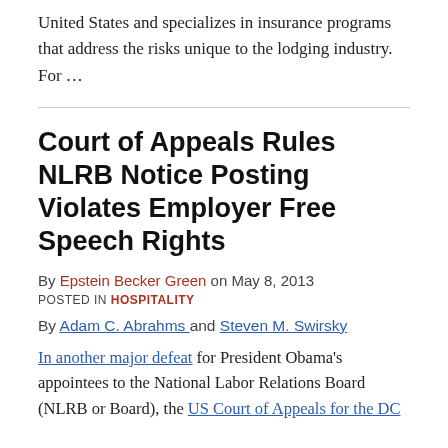United States and specializes in insurance programs that address the risks unique to the lodging industry.  For …
Court of Appeals Rules NLRB Notice Posting Violates Employer Free Speech Rights
By Epstein Becker Green on May 8, 2013
POSTED IN HOSPITALITY
By Adam C. Abrahms and Steven M. Swirsky
In another major defeat for President Obama's appointees to the National Labor Relations Board (NLRB or Board), the US Court of Appeals for the DC